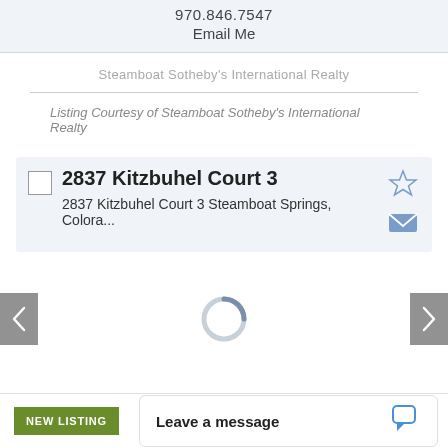970.846.7547
Email Me
Steamboat Sotheby's International Realty
Listing Courtesy of Steamboat Sotheby's International Realty
2837 Kitzbuhel Court 3
2837 Kitzbuhel Court 3 Steamboat Springs, Colora...
[Figure (screenshot): Loading spinner with left and right navigation arrow buttons on a white background]
NEW LISTING
Leave a message